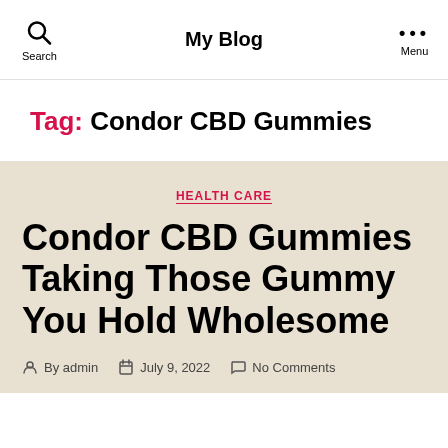My Blog
Tag: Condor CBD Gummies
HEALTH CARE
Condor CBD Gummies Taking Those Gummy You Hold Wholesome
By admin   July 9, 2022   No Comments